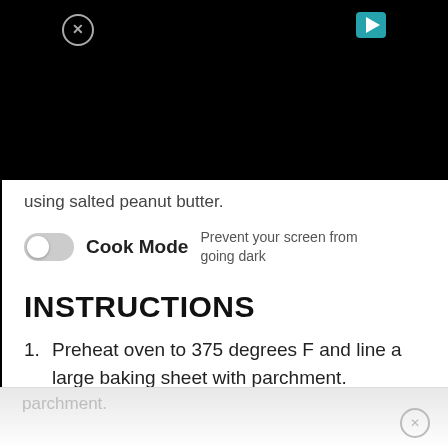[Figure (screenshot): Black video/advertisement area at the top of the page with a close (X) button on the left and a teal play button on the right]
using salted peanut butter.
Cook Mode  Prevent your screen from going dark
INSTRUCTIONS
1. Preheat oven to 375 degrees F and line a large baking sheet with parchment.